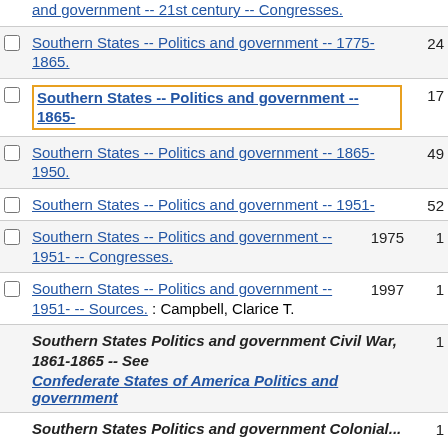and government -- 21st century -- Congresses.
Southern States -- Politics and government -- 1775-1865. 24
Southern States -- Politics and government -- 1865- 17
Southern States -- Politics and government -- 1865-1950. 49
Southern States -- Politics and government -- 1951- 52
Southern States -- Politics and government -- 1951- -- Congresses. 1975 1
Southern States -- Politics and government -- 1951- -- Sources. : Campbell, Clarice T. 1997 1
Southern States Politics and government Civil War, 1861-1865 -- See Confederate States of America Politics and government 1
Southern States Politics and government Colonial... 1